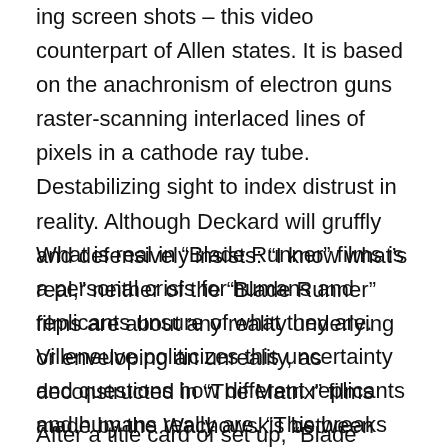ing screen shots – this video counterpart of Allen states. It is based on the anachronism of electron guns raster-scanning interlaced lines of pixels in a cathode ray tube. Destabilizing sight to index distrust in reality. Although Deckard will gruffly and defensively insists: “I know what’s real,” neither of the “Blade Runner” films are about any reality underlying or enveloping an unreality, as deconstructed in “The Matrix” films made by the Wachowskis between 1999 and 2003.
What is real in “Blade Runner” films is a personal crisis for humans and replicants unsure of what they are. Villeneuve politicizes this uncertainty and questions how different replicants and humans really are. “This breaks the world, K,” warns LAPD Lieutenant Joshi (Robin Wright) when K’s clues align above his pay grade.
After a title card of set up, “Blade Runner 2049” opens